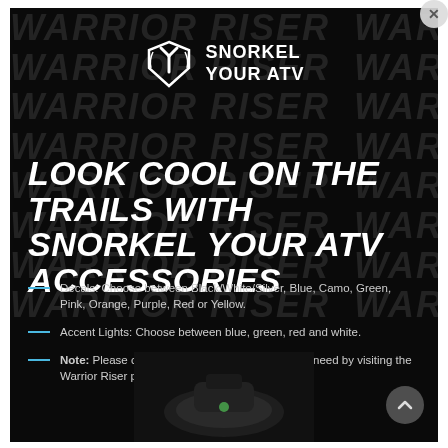[Figure (logo): Snorkel Your ATV logo — white shield/Y symbol with white bold text SNORKEL YOUR ATV]
LOOK COOL ON THE TRAILS WITH SNORKEL YOUR ATV ACCESSORIES
Decals: Choose between Black/White/Silver, Blue, Camo, Green, Pink, Orange, Purple, Red or Yellow.
Accent Lights: Choose between blue, green, red and white.
Note: Please confirm which accent kit your risers need by visiting the Warrior Riser product description.
[Figure (photo): Partial view of an ATV accessory product (riser/snorkel component) at the bottom of the page]